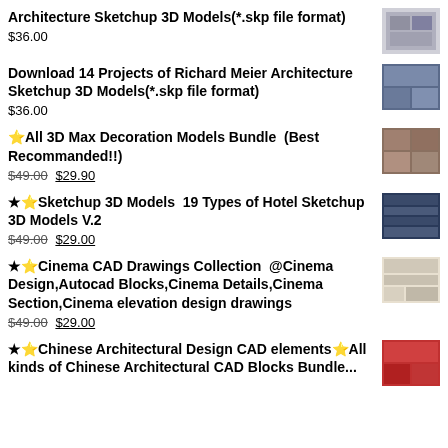Architecture Sketchup 3D Models(*.skp file format)
$36.00
Download 14 Projects of Richard Meier Architecture Sketchup 3D Models(*.skp file format)
$36.00
⭐All 3D Max Decoration Models Bundle  (Best Recommanded!!)
$49.00 $29.90
★⭐Sketchup 3D Models  19 Types of Hotel Sketchup 3D Models V.2
$49.00 $29.00
★⭐Cinema CAD Drawings Collection  @Cinema Design,Autocad Blocks,Cinema Details,Cinema Section,Cinema elevation design drawings
$49.00 $29.00
★⭐Chinese Architectural Design CAD elements⭐All kinds of Chinese Architectural CAD Blocks Bundle...